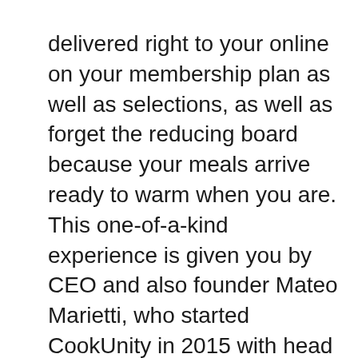delivered right to your online on your membership plan as well as selections, as well as forget the reducing board because your meals arrive ready to warm when you are. This one-of-a-kind experience is given you by CEO and also founder Mateo Marietti, who started CookUnity in 2015 with head cook Lucia Cisilotto. The company has a recurring collaboration with as well as contribution to the Food Bank of New York City, to resolve as well as improve the food insecurity of households throughout the 5 districts.
CookUnity prides itself on its goal to deliver a high criterion of scrumptious and chef-created diverse meals matched to meet almost every dietary requirement and also